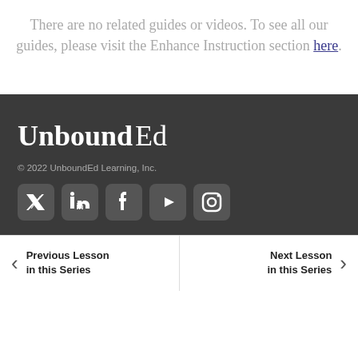There are no related guides or videos. To see all our guides, please visit the Enhance Instruction section here.
[Figure (logo): UnboundEd logo in white text on dark background]
© 2022 UnboundEd Learning, Inc.
[Figure (other): Social media icons: Twitter, LinkedIn, Facebook, YouTube, Instagram]
Previous Lesson in this Series   Next Lesson in this Series